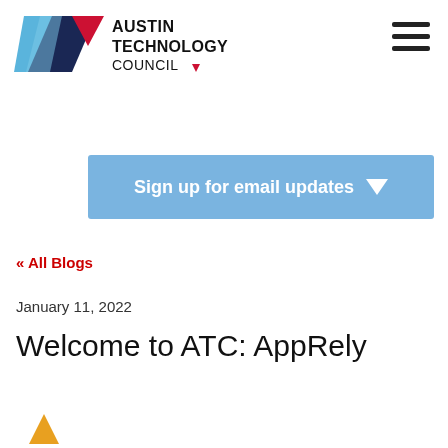[Figure (logo): Austin Technology Council logo with geometric arrow/chevron shapes in blue, navy, red, and a small red triangle next to the text AUSTIN TECHNOLOGY COUNCIL]
[Figure (infographic): Hamburger menu icon (three horizontal lines) in the top right corner]
[Figure (infographic): Light blue button with white text reading 'Sign up for email updates' with a downward pointing triangle/arrow on the right]
« All Blogs
January 11, 2022
Welcome to ATC: AppRely
[Figure (logo): Partial orange/gold triangle logo at the bottom left, partially cut off]